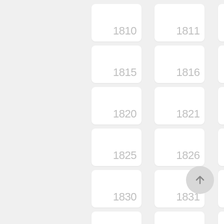[Figure (other): A grid of numbered year tiles from 1810 to 1864, arranged in 5 columns, each tile is a white rounded rectangle with a light gray year number displayed in the bottom-right, on a light gray background. A scroll-to-top button (circular, gray, with an upward arrow) is visible in the lower right area.]